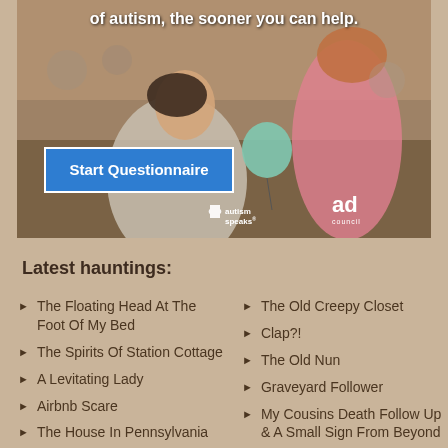[Figure (photo): Advertisement image showing a smiling woman and a child playing with a balloon outdoors. Text reads 'of autism, the sooner you can help.' with a 'Start Questionnaire' blue button. Logos for Autism Speaks and Ad Council appear at bottom right.]
Latest hauntings:
The Floating Head At The Foot Of My Bed
The Spirits Of Station Cottage
A Levitating Lady
Airbnb Scare
The House In Pennsylvania
The Old Creepy Closet
Clap?!
The Old Nun
Graveyard Follower
My Cousins Death Follow Up & A Small Sign From Beyond